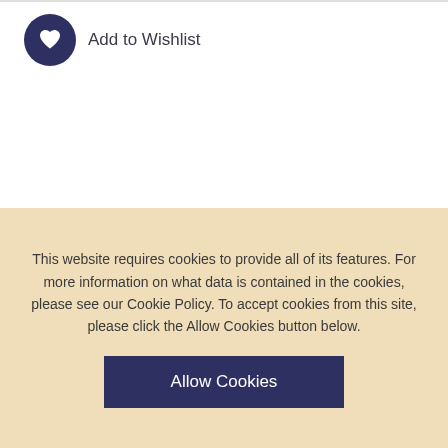Add to Wishlist
OVERVIEW
Wellington's Headquarters is an essential introduction to the administration of the British army in the early nineteenth century. It offers a fascinating insight into the structure and operation of the Duke of Wellington's command during the Peninsular War.
This website requires cookies to provide all of its features. For more information on what data is contained in the cookies, please see our Cookie Policy. To accept cookies from this site, please click the Allow Cookies button below.
Allow Cookies